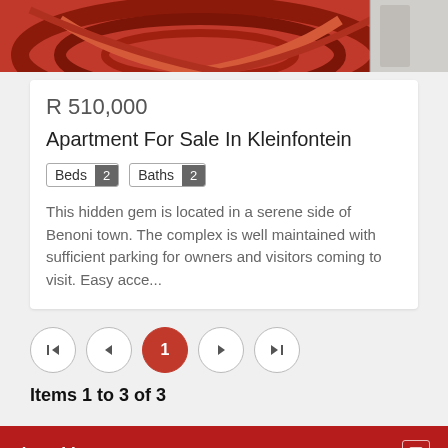[Figure (photo): Partial photo showing a decorative rug with red/orange swirl pattern on tiled floor, with a white appliance visible at right edge]
R 510,000
Apartment For Sale In Kleinfontein
Beds 2   Baths 2
This hidden gem is located in a serene side of Benoni town. The complex is well maintained with sufficient parking for owners and visitors coming to visit. Easy acce...
1 (pagination: page 1 active, with first/prev/next/last controls)
Items 1 to 3 of 3
Area Map